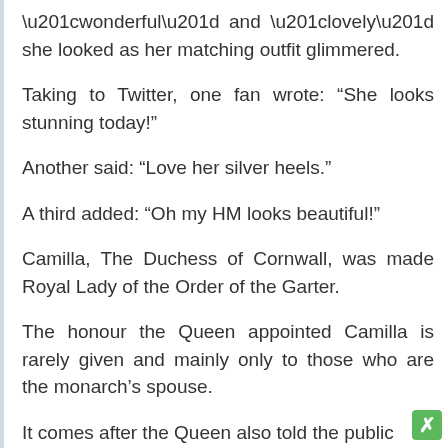“wonderful” and “lovely” she looked as her matching outfit glimmered.
Taking to Twitter, one fan wrote: “She looks stunning today!”
Another said: “Love her silver heels.”
A third added: “Oh my HM looks beautiful!”
Camilla, The Duchess of Cornwall, was made Royal Lady of the Order of the Garter.
The honour the Queen appointed Camilla is rarely given and mainly only to those who are the monarch’s spouse.
It comes after the Queen also told the public